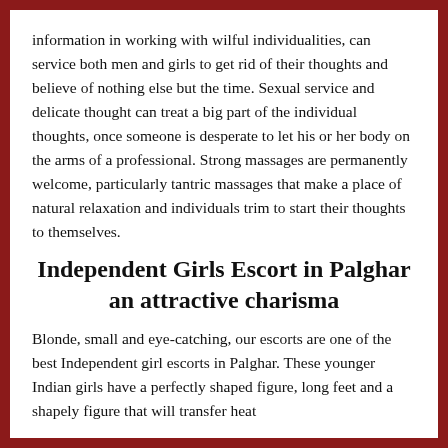information in working with wilful individualities, can service both men and girls to get rid of their thoughts and believe of nothing else but the time. Sexual service and delicate thought can treat a big part of the individual thoughts, once someone is desperate to let his or her body on the arms of a professional. Strong massages are permanently welcome, particularly tantric massages that make a place of natural relaxation and individuals trim to start their thoughts to themselves.
Independent Girls Escort in Palghar an attractive charisma
Blonde, small and eye-catching, our escorts are one of the best Independent girl escorts in Palghar. These younger Indian girls have a perfectly shaped figure, long feet and a shapely figure that will transfer heat